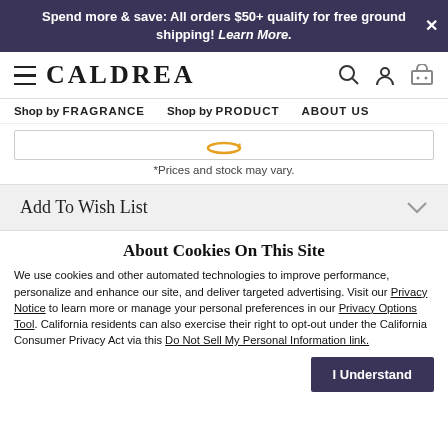Spend more & save: All orders $50+ qualify for free ground shipping! Learn More.
[Figure (logo): Caldrea brand logo with hamburger menu icon on left and search, account, cart icons on right]
Shop by FRAGRANCE   Shop by PRODUCT   ABOUT US
[Figure (other): Amazon buy button area inside a bordered box]
*Prices and stock may vary.
Add To Wish List
About Cookies On This Site
We use cookies and other automated technologies to improve performance, personalize and enhance our site, and deliver targeted advertising. Visit our Privacy Notice to learn more or manage your personal preferences in our Privacy Options Tool. California residents can also exercise their right to opt-out under the California Consumer Privacy Act via this Do Not Sell My Personal Information link.
I Understand